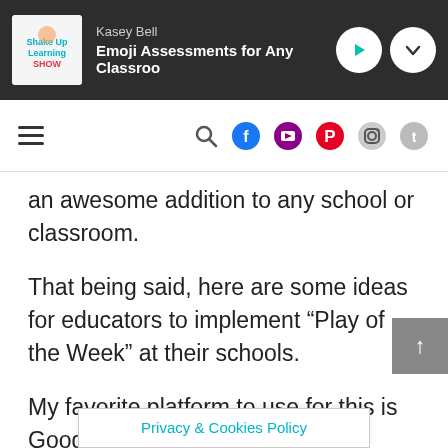Kasey Bell — Emoji Assessments for Any Classroom
an awesome addition to any school or classroom.
That being said, here are some ideas for educators to implement “Play of the Week” at their schools.
My favorite platform to use for this is Google Slides because of the collaboration, endless design possibilities with
Privacy & Cookies Policy